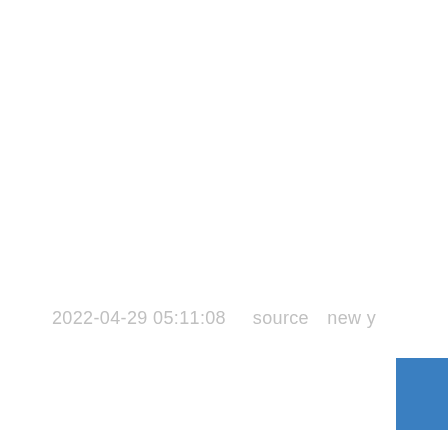2022-04-29 05:11:08     source　new y
[Figure (other): Blue rectangle partially visible at bottom right corner of the page]